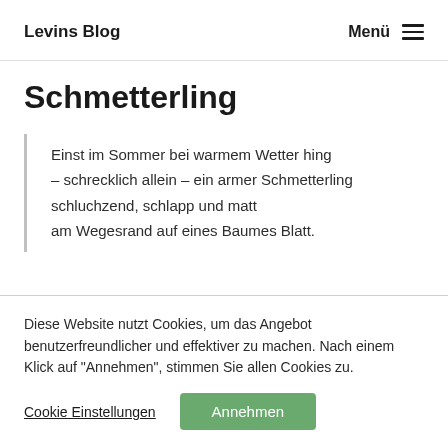Levins Blog | Menü
Schmetterling
Einst im Sommer bei warmem Wetter hing – schrecklich allein – ein armer Schmetterling schluchzend, schlapp und matt am Wegesrand auf eines Baumes Blatt.
Diese Website nutzt Cookies, um das Angebot benutzerfreundlicher und effektiver zu machen. Nach einem Klick auf "Annehmen", stimmen Sie allen Cookies zu.
Cookie Einstellungen | Annehmen